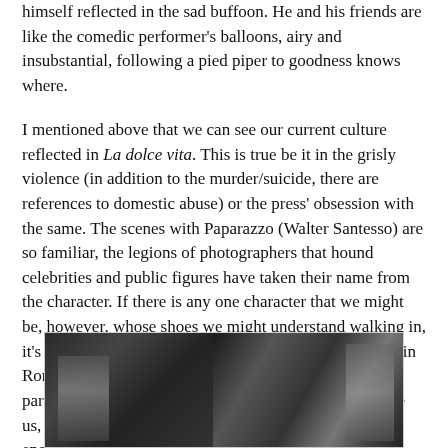himself reflected in the sad buffoon. He and his friends are like the comedic performer's balloons, airy and insubstantial, following a pied piper to goodness knows where.
I mentioned above that we can see our current culture reflected in La dolce vita. This is true be it in the grisly violence (in addition to the murder/suicide, there are references to domestic abuse) or the press' obsession with the same. The scenes with Paparazzo (Walter Santesso) are so familiar, the legions of photographers that hound celebrities and public figures have taken their name from the character. If there is any one character that we might be, however, whose shoes we might understand walking in, it's Marcello's father (Annibale Ninchi). He doesn't live in Rome, and on a rare visit, he goes out with his son, partakes of his life, and finds it's too much for him. Like us, he is the casual observer who can only become engorged on the experience rather than be a part of it.
[Figure (photo): A black-and-white film still from La dolce vita showing figures in a dark scene]